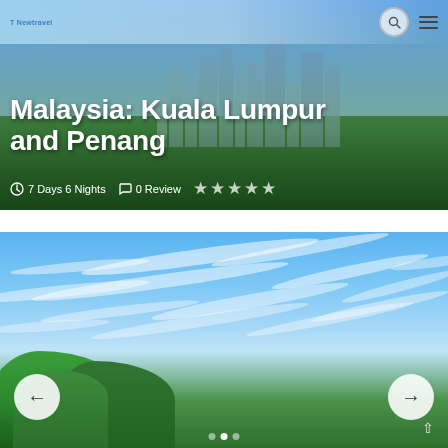T Newtravel
Malaysia: Kuala Lumpur and Penang
⏱ 7 Days 6 Nights   💬 0 Review   ★★★★★
[Figure (photo): Blue sky with wispy white clouds over green tropical trees, with navigation arrow buttons on left and right sides of the image gallery slider]